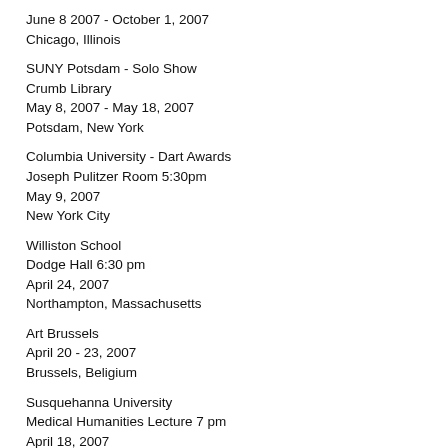June 8 2007 - October 1, 2007
Chicago, Illinois
SUNY Potsdam - Solo Show
Crumb Library
May 8, 2007 - May 18, 2007
Potsdam, New York
Columbia University - Dart Awards
Joseph Pulitzer Room 5:30pm
May 9, 2007
New York City
Williston School
Dodge Hall 6:30 pm
April 24, 2007
Northampton, Massachusetts
Art Brussels
April 20 - 23, 2007
Brussels, Beligium
Susquehanna University
Medical Humanities Lecture 7 pm
April 18, 2007
Selinsgrove, Pennsylvania
Green Door Studio - Solo Show